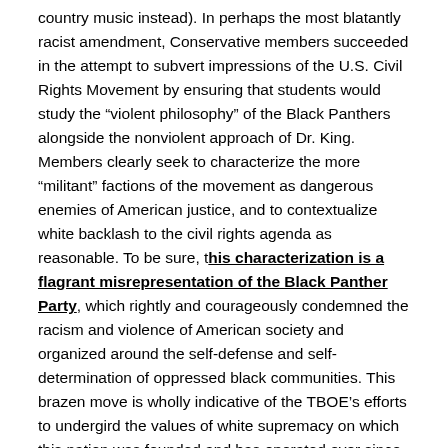country music instead). In perhaps the most blatantly racist amendment, Conservative members succeeded in the attempt to subvert impressions of the U.S. Civil Rights Movement by ensuring that students would study the “violent philosophy” of the Black Panthers alongside the nonviolent approach of Dr. King. Members clearly seek to characterize the more “militant” factions of the movement as dangerous enemies of American justice, and to contextualize white backlash to the civil rights agenda as reasonable. To be sure, this characterization is a flagrant misrepresentation of the Black Panther Party, which rightly and courageously condemned the racism and violence of American society and organized around the self-defense and self-determination of oppressed black communities. This brazen move is wholly indicative of the TBOE’s efforts to undergird the values of white supremacy on which this nation was founded and has operated ever since.